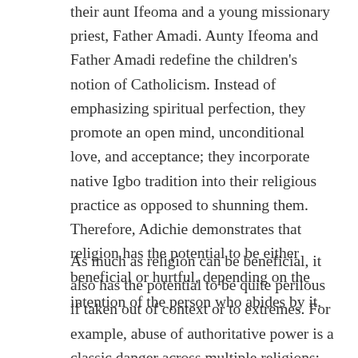their aunt Ifeoma and a young missionary priest, Father Amadi. Aunty Ifeoma and Father Amadi redefine the children's notion of Catholicism. Instead of emphasizing spiritual perfection, they promote an open mind, unconditional love, and acceptance; they incorporate native Igbo tradition into their religious practice as opposed to shunning them. Therefore, Adichie demonstrates that religion has the potential to be either beneficial or hurtful, depending on the intention of the person who abides by it.
As much as religion can be beneficial, it also has the potential to be quite perilous if taken out of context or to extremes. For example, abuse of authoritative power is a classic danger across multiple religions; one where over-authoritative figures often rationalize their behavior. So this story…